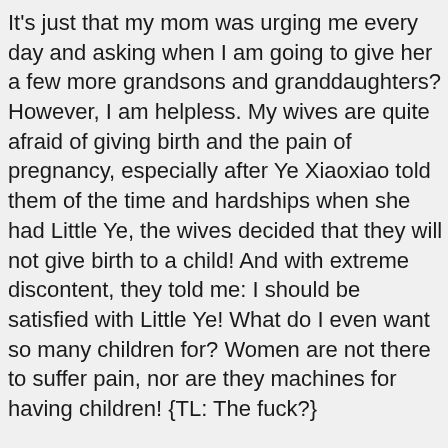It's just that my mom was urging me every day and asking when I am going to give her a few more grandsons and granddaughters? However, I am helpless. My wives are quite afraid of giving birth and the pain of pregnancy, especially after Ye Xiaoxiao told them of the time and hardships when she had Little Ye, the wives decided that they will not give birth to a child! And with extreme discontent, they told me: I should be satisfied with Little Ye! What do I even want so many children for? Women are not there to suffer pain, nor are they machines for having children! {TL: The fuck?}
Those words from them dumbfounded me!
But for me, it is to be determined by my mother, the...